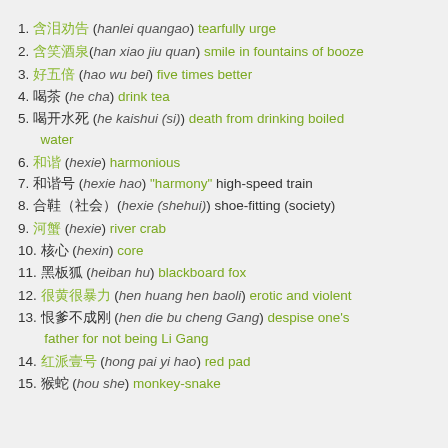1. 含泪劝告 (hanlei quangao) tearfully urge
2. 含笑酒泉 (han xiao jiu quan) smile in fountains of booze
3. 好五倍 (hao wu bei) five times better
4. 喝茶 (he cha) drink tea
5. 喝开水死 (he kaishui (si)) death from drinking boiled water
6. 和谐 (hexie) harmonious
7. 和谐号 (hexie hao) "harmony" high-speed train
8. 合鞋（社会）(hexie (shehui)) shoe-fitting (society)
9. 河蟹 (hexie) river crab
10. 核心 (hexin) core
11. 黑板狐 (heiban hu) blackboard fox
12. 很黄很暴力 (hen huang hen baoli) erotic and violent
13. 恨爹不成刚 (hen die bu cheng Gang) despise one's father for not being Li Gang
14. 红派壹号 (hong pai yi hao) red pad
15. 猴蛇 (hou she) monkey-snake